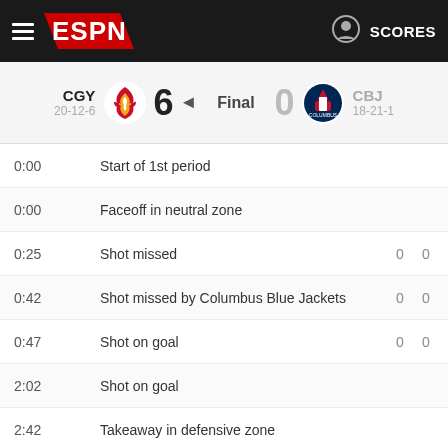ESPN — SCORES
| Team | Score |  | Score | Team |
| --- | --- | --- | --- | --- |
| CGY 20-12-6 | 6 | Final | 0 | CBJ 18-21-1 |
0:00   Start of 1st period
0:00   Faceoff in neutral zone
0:25   Shot missed   0   0
0:42   Shot missed by Columbus Blue Jackets   0   0
0:47   Shot on goal   0   0
2:02   Shot on goal
2:42   Takeaway in defensive zone
2:51   hit in defensive zone
2:58   Stoppage - Icing
2:58   Matthew Tkachuk won faceoff in offensive zone